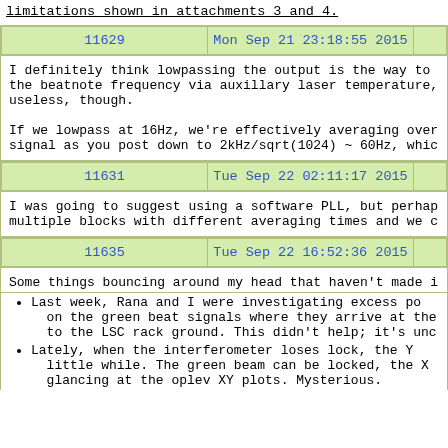limitations shown in attachments 3 and 4.
| 11629 | Mon Sep 21 23:18:55 2015 |  |
| --- | --- | --- |
I definitely think lowpassing the output is the way to the beatnote frequency via auxillary laser temperature, useless, though.

If we lowpass at 16Hz, we're effectively averaging over signal as you post down to 2kHz/sqrt(1024) ~ 60Hz, whic
| 11631 | Tue Sep 22 02:11:17 2015 |  |
| --- | --- | --- |
I was going to suggest using a software PLL, but perhap multiple blocks with different averaging times and we c
| 11635 | Tue Sep 22 16:52:36 2015 |  |
| --- | --- | --- |
Some things bouncing around my head that haven't made i
Last week, Rana and I were investigating excess po on the green beat signals where they arrive at the to the LSC rack ground. This didn't help; it's unc
Lately, when the interferometer loses lock, the Y little while. The green beam can be locked, the X glancing at the oplev XY plots. Mysterious.